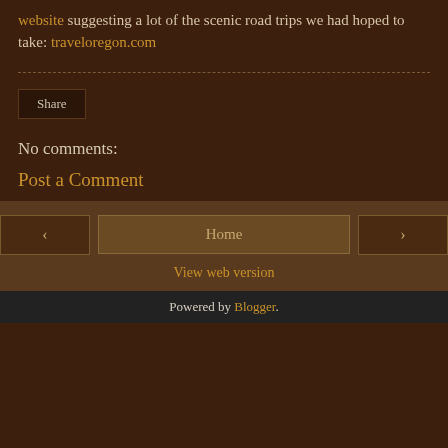website suggesting a lot of the scenic road trips we had hoped to take: traveloregon.com
Share
No comments:
Post a Comment
Home
View web version
Powered by Blogger.